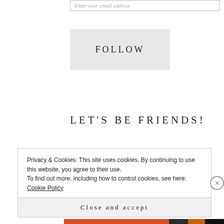Enter your email address
FOLLOW
LET'S BE FRIENDS!
[Figure (illustration): Three watercolor-style social media icons: Twitter (blue bird on blue watercolor blob), Email (envelope on green watercolor blob), Facebook (f logo on dark blue watercolor blob)]
Privacy & Cookies: This site uses cookies. By continuing to use this website, you agree to their use.
To find out more, including how to control cookies, see here: Cookie Policy
Close and accept